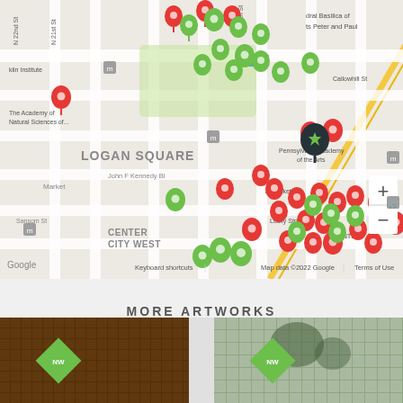[Figure (map): Google Maps view of Philadelphia Center City / Logan Square area showing multiple red and green map pin markers indicating artwork locations. Streets visible include John F Kennedy Blvd, Market St, Sansom St, N 21st St, N 22nd St, N 16th St. Landmarks labeled include Logan Square, Center City West, Pennsylvania Academy, Cathedral Basilica of Sts Peter and Paul, The Franklin Institute, The Academy of Natural Sciences. Map footer shows: Keyboard shortcuts | Map data ©2022 Google | Terms of Use. Zoom +/- controls visible at right.]
MORE ARTWORKS
[Figure (photo): Two artwork thumbnail images at bottom of page. Left thumbnail shows a dark/amber toned artwork with grid-like pattern. Right thumbnail shows a building exterior with trees and grid facade. Each has a green NW diamond logo badge overlaid.]